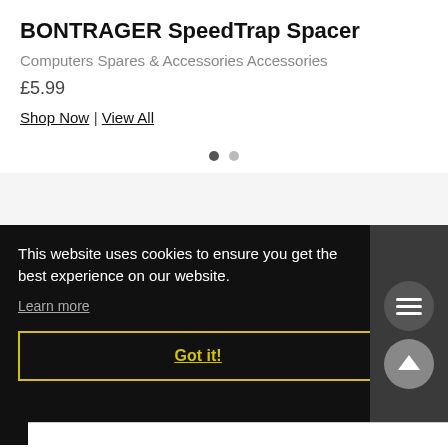BONTRAGER SpeedTrap Spacer
Computers Spares & Accessories Accessories
£5.99
Shop Now | View All
This website uses cookies to ensure you get the best experience on our website.
Learn more
Got it!